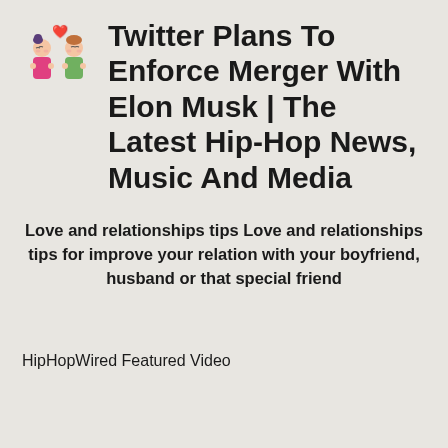Twitter Plans To Enforce Merger With Elon Musk | The Latest Hip-Hop News, Music And Media
Love and relationships tips Love and relationships tips for improve your relation with your boyfriend, husband or that special friend
HipHopWired Featured Video